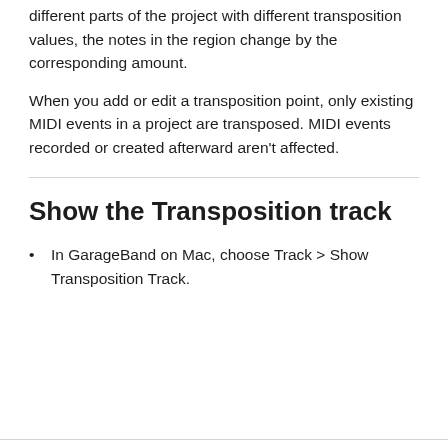different parts of the project with different transposition values, the notes in the region change by the corresponding amount.
When you add or edit a transposition point, only existing MIDI events in a project are transposed. MIDI events recorded or created afterward aren't affected.
Show the Transposition track
In GarageBand on Mac, choose Track > Show Transposition Track.